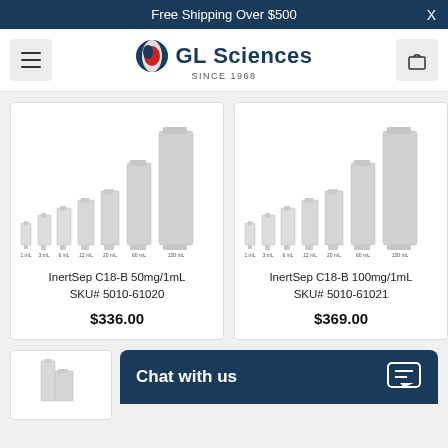Free Shipping Over $500
[Figure (logo): GL Sciences logo with circular red/dark icon, company name and SINCE 1968 text]
[Figure (photo): InertSep C18-B SPE cartridges in sizes 1mL, 3mL, 6mL, 12mL, 20mL, 60mL, 150mL arranged by increasing size]
InertSep C18-B 50mg/1mL
SKU# 5010-61020
$336.00
[Figure (photo): InertSep C18-B SPE cartridges in sizes 1mL, 3mL, 6mL, 12mL, 20mL, 60mL, 150mL arranged by increasing size]
InertSep C18-B 100mg/1mL
SKU# 5010-61021
$369.00
Chat with us